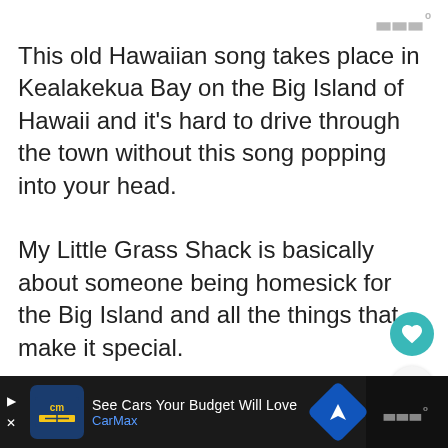[Figure (logo): Watermark logo top right, gray stylized W with degree symbol]
This old Hawaiian song takes place in Kealakekua Bay on the Big Island of Hawaii and it's hard to drive through the town without this song popping into your head.
My Little Grass Shack is basically about someone being homesick for the Big Island and all the things that make it special.
[Figure (infographic): Teal heart button and share icon button on right side, plus WHAT'S NEXT panel with Hawaiian Musical Arti... thumbnail]
[Figure (infographic): CarMax advertisement bar at bottom: See Cars Your Budget Will Love, CarMax]